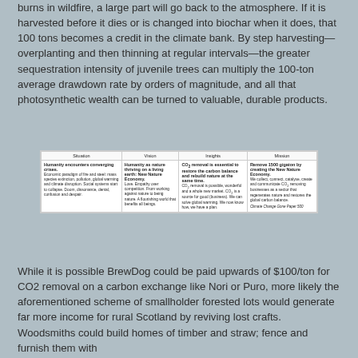burns in wildfire, a large part will go back to the atmosphere. If it is harvested before it dies or is changed into biochar when it does, that 100 tons becomes a credit in the climate bank. By step harvesting—overplanting and then thinning at regular intervals—the greater sequestration intensity of juvenile trees can multiply the 100-ton average drawdown rate by orders of magnitude, and all that photosynthetic wealth can be turned to valuable, durable products.
| Situation | Vision | Insights | Mission |
| --- | --- | --- | --- |
| Humanity encounters converging crises. Economic paradigm of fire and steel: mass species extinction, pollution, global warming and climate disruption. Social systems start to collapse. Doom, dissonance, denial, confusion and despair. | Humanity as nature thriving on a living earth: New Nature Economy. Love. Empathy over competition. From working against nature to being nature. A flourishing world that benefits all beings. | CO2 removal is essential to restore the carbon balance and rebuild nature at the same time. CO2 removal is possible, wonderful and a whole new market. CO2 is a source for good (business). We can solve global warming. We now know how, we have a plan. | Remove 1500 gigaton by creating the New Nature Economy. We collect, connect, catalyse, create and communicate CO2 removing businesses as a sector that regenerates nature and restores the global carbon balance. Climate Change Gone Paper 500 |
While it is possible BrewDog could be paid upwards of $100/ton for CO2 removal on a carbon exchange like Nori or Puro, more likely the aforementioned scheme of smallholder forested lots would generate far more income for rural Scotland by reviving lost crafts. Woodsmiths could build homes of timber and straw; fence and furnish them with